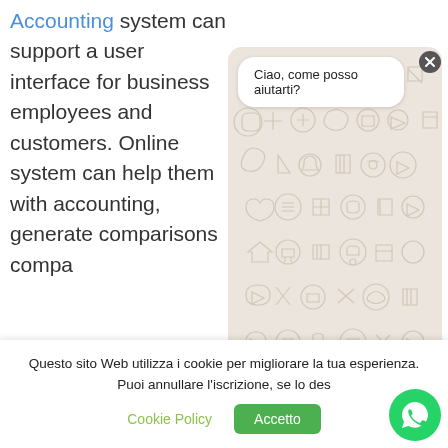Accounting system can support a user interface for business employees and customers. Online system can help them with accounting, generate comparisons
[Figure (screenshot): WhatsApp chat overlay widget with message bubble saying 'Ciao, come posso aiutarti?' on a beige patterned background, with a close button, text input field, and send button]
Questo sito Web utilizza i cookie per migliorare la tua esperienza. Puoi annullare l'iscrizione, se lo des
Cookie Policy
Accetto
[Figure (logo): WhatsApp floating green circular icon]